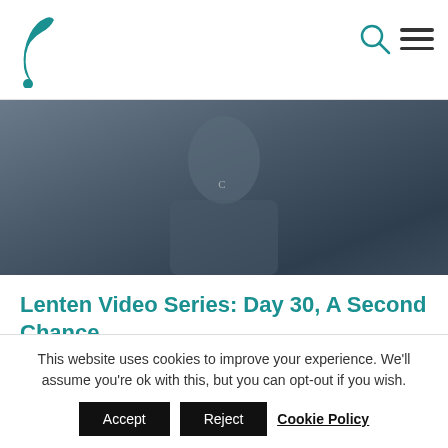F logo, search icon, menu icon
[Figure (photo): A person wearing a blue/teal Champion sweatshirt in a dimly lit indoor setting]
Lenten Video Series: Day 30, A Second Chance
by The Miraculous Medal Shrine | Mar 31, 2020 | Formation, Reflections
This Lent, we offer to you the 2020 Lenten Video Series created by the
This website uses cookies to improve your experience. We'll assume you're ok with this, but you can opt-out if you wish.
Accept   Reject   Cookie Policy